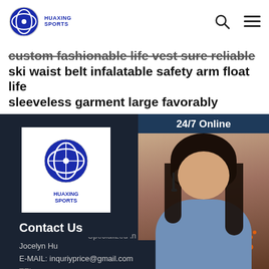HUAXING SPORTS
custom fashionable life vest sure reliable ski waist belt infalatable safety arm float life sleeveless garment large favorably
[Figure (logo): Huaxing Sports logo - circular emblem with blue design and text HUAXING SPORTS]
Specialized in neoprene products for over 20 years. Profile Locates in Dongguan city, which has many material suppliers related in Neoprene ...
[Figure (photo): Customer service representative woman with headset smiling, with 24/7 Online header and Click here for free chat CTA and QUOTATION button]
Contact Us
Jocelyn Hu
E-MAIL: inquriyprice@gmail.com